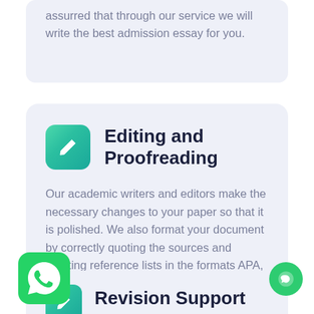assurred that through our service we will write the best admission essay for you.
[Figure (illustration): Teal gradient square icon with white pencil/edit symbol]
Editing and Proofreading
Our academic writers and editors make the necessary changes to your paper so that it is polished. We also format your document by correctly quoting the sources and creating reference lists in the formats APA, Harvard, MLA, Chicago / Turabian.
[Figure (logo): WhatsApp green rounded square icon]
[Figure (illustration): Small teal gradient square icon with white pencil symbol]
Revision Support
[Figure (illustration): Green circular chat/message button with white icon]